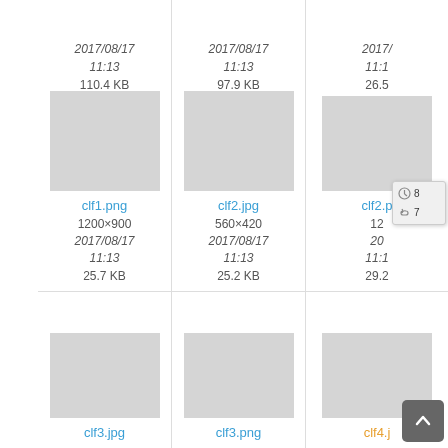[Figure (screenshot): File browser / image gallery grid showing thumbnail cards. Top row (partial): three cards with dates 2017/08/17 11:13 and sizes 110.4 KB, 97.9 KB, 26.5... Middle row: clf1.png (1200×900, 2017/08/17 11:13, 25.7 KB), clf2.jpg (560×420, 2017/08/17 11:13, 25.2 KB), clf2.p... (partially visible, 12..., 20..., 11:1..., 29.2...), with a context menu overlay showing clock and link icons. Bottom row (partial): clf3.jpg, clf3.png, clf4.j... A scroll-to-top button appears bottom right.]